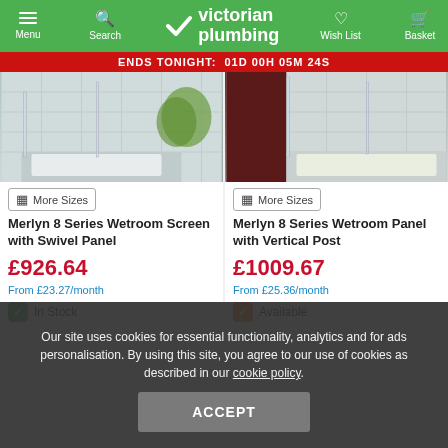Victorian Plumbing — Menu, Search, Wish List, Basket
ENDS TONIGHT: 01D 00H 05M 24S
[Figure (photo): Merlyn 8 Series Wetroom Screen with Swivel Panel — shower enclosure product image]
More Sizes
Merlyn 8 Series Wetroom Screen with Swivel Panel
£926.64
From £23.27/month
In Stock
[Figure (photo): Merlyn 8 Series Wetroom Panel with Vertical Post — shower enclosure product image]
More Sizes
Merlyn 8 Series Wetroom Panel with Vertical Post
£1009.67
From £25.36/month
Available
Our site uses cookies for essential functionality, analytics and for ads personalisation. By using this site, you agree to our use of cookies as described in our cookie policy.
ACCEPT